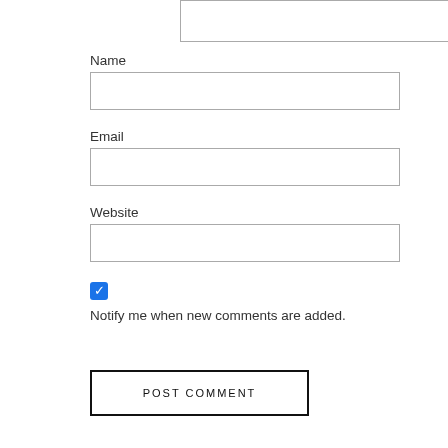[Figure (screenshot): Partial textarea input box with resize handle at top of page]
Name
[Figure (screenshot): Empty Name text input field]
Email
[Figure (screenshot): Empty Email text input field]
Website
[Figure (screenshot): Empty Website text input field]
[Figure (screenshot): Checked blue checkbox]
Notify me when new comments are added.
POST COMMENT